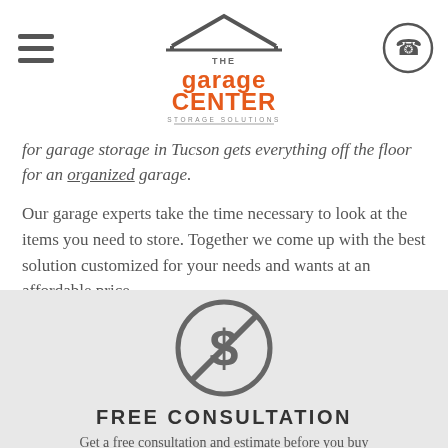[Figure (logo): The Garage Center Storage Solutions logo with hamburger menu icon on left and phone icon on right]
for garage storage in Tucson gets everything off the floor for an organized garage.
Our garage experts take the time necessary to look at the items you need to store. Together we come up with the best solution customized for your needs and wants at an affordable price.
[Figure (illustration): No dollar sign icon - a dollar sign with a prohibition circle and slash through it, in dark gray]
FREE CONSULTATION
Get a free consultation and estimate before you buy